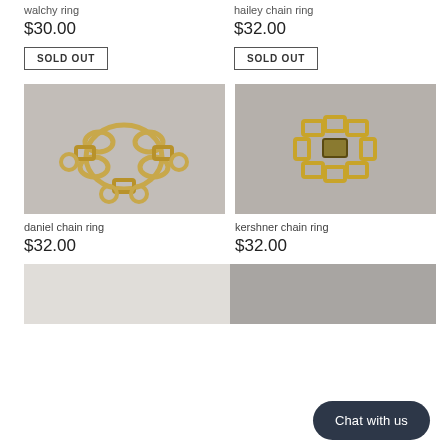walchy ring
$30.00
SOLD OUT
hailey chain ring
$32.00
SOLD OUT
[Figure (photo): Gold chain link bracelet/ring with circular and rectangular links on grey background]
daniel chain ring
$32.00
[Figure (photo): Gold rectangular chain ring with open rectangular links on grey background]
kershner chain ring
$32.00
[Figure (photo): Partial product image, light grey background]
[Figure (photo): Partial product image, dark grey background with Chat with us button overlay]
Chat with us